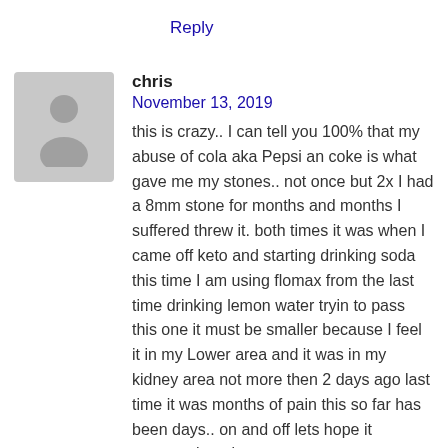Reply
chris
November 13, 2019
this is crazy.. I can tell you 100% that my abuse of cola aka Pepsi an coke is what gave me my stones.. not once but 2x I had a 8mm stone for months and months I suffered threw it. both times it was when I came off keto and starting drinking soda this time I am using flomax from the last time drinking lemon water tryin to pass this one it must be smaller because I feel it in my Lower area and it was in my kidney area not more then 2 days ago last time it was months of pain this so far has been days.. on and off lets hope it passes.. but please stay